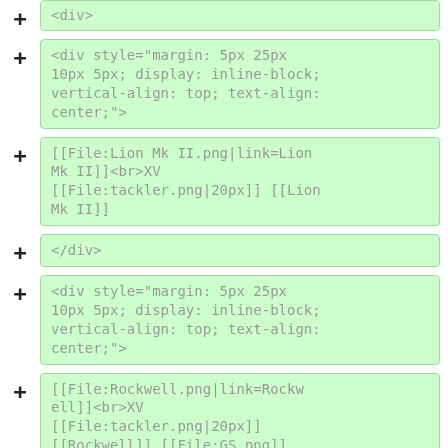+ <div>
+ <div style="margin: 5px 25px 10px 5px; display: inline-block; vertical-align: top; text-align: center;">
+ [[File:Lion Mk II.png|link=Lion Mk II]]<br>XV [[File:tackler.png|20px]] [[Lion Mk II]]
+ </div>
+ <div style="margin: 5px 25px 10px 5px; display: inline-block; vertical-align: top; text-align: center;">
+ [[File:Rockwell.png|link=Rockwell]]<br>XV [[File:tackler.png|20px]] [[Rockwell]] [[File:GS.png]]
+ </div>
+ <div style="margin: 5px 25px